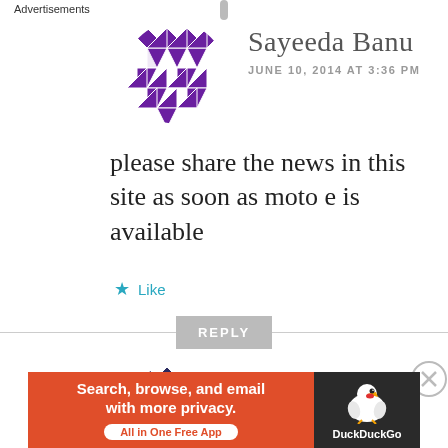[Figure (illustration): Purple geometric patterned circular avatar for user Sayeeda Banu]
Sayeeda Banu
JUNE 10, 2014 AT 3:36 PM
please share the news in this site as soon as moto e is available
Like
REPLY
[Figure (illustration): Dark purple geometric patterned circular avatar for user muralidhar]
muralidhar
JUNE 10, 2014 AT 5:59 PM
Advertisements
[Figure (screenshot): DuckDuckGo advertisement banner: Search, browse, and email with more privacy. All in One Free App]